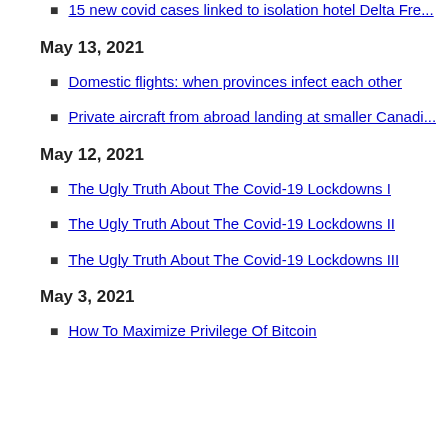15 new covid cases linked to isolation hotel Delta Fre...
May 13, 2021
Domestic flights: when provinces infect each other
Private aircraft from abroad landing at smaller Canadia...
May 12, 2021
The Ugly Truth About The Covid-19 Lockdowns I
The Ugly Truth About The Covid-19 Lockdowns II
The Ugly Truth About The Covid-19 Lockdowns III
May 3, 2021
How To Maximize Privilege Of Bitcoin